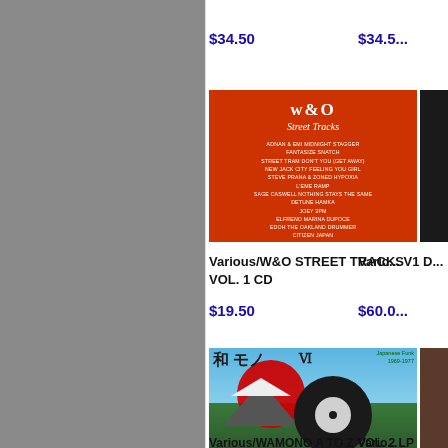$34.50
$34.5...
[Figure (photo): W&O Street Tracks Volume 1 CD album cover — red background with white text listing track names]
[Figure (photo): Partial vinyl record cover, dark/black, partially visible on right edge]
Various/W&O STREET TRACKS VOL. 1 CD
Varic... V1 D...
$19.50
$60.0...
[Figure (photo): Wamono A to Z Vol. 2 LP album cover — Japanese funk/soul compilation with kanji text, red sun, Mount Fuji, and vinyl record graphic on sky/nature background]
[Figure (photo): Partial album cover visible on right edge]
Various/WAMONO A TO Z VOL. 2 LP
Vario...